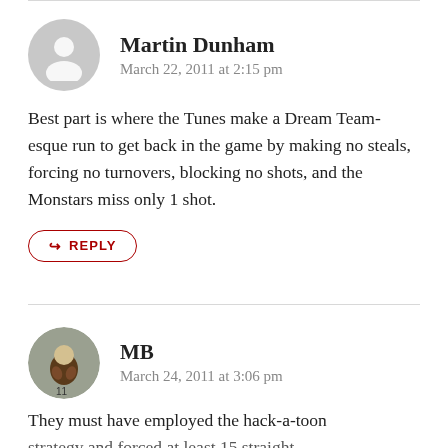Martin Dunham
March 22, 2011 at 2:15 pm
Best part is where the Tunes make a Dream Team-esque run to get back in the game by making no steals, forcing no turnovers, blocking no shots, and the Monstars miss only 1 shot.
↩ REPLY
MB
March 24, 2011 at 3:06 pm
They must have employed the hack-a-toon strategy and forced at least 15 straight...